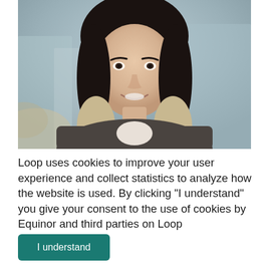[Figure (photo): Portrait photo of a young Asian woman with shoulder-length black and blonde ombre hair, smiling, wearing a dark gray cardigan, with a blurred outdoor/building background.]
Loop uses cookies to improve your user experience and collect statistics to analyze how the website is used. By clicking "I understand" you give your consent to the use of cookies by Equinor and third parties on Loop
I understand